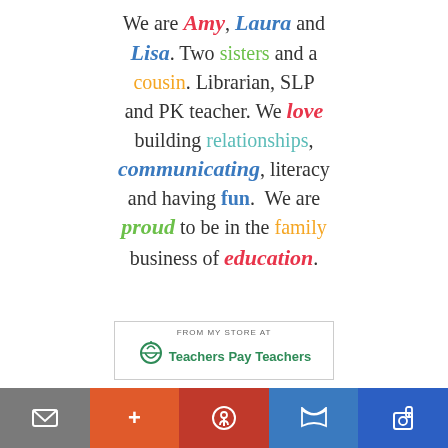We are Amy, Laura and Lisa. Two sisters and a cousin. Librarian, SLP and PK teacher. We love building relationships, communicating, literacy and having fun. We are proud to be in the family business of education.
[Figure (logo): Teachers Pay Teachers store logo with apple and text 'FROM MY STORE AT Teachers Pay Teachers']
[Figure (infographic): Bottom navigation bar with icons: email (gray), plus (orange), Pinterest (red), Twitter (blue), Facebook (dark blue)]